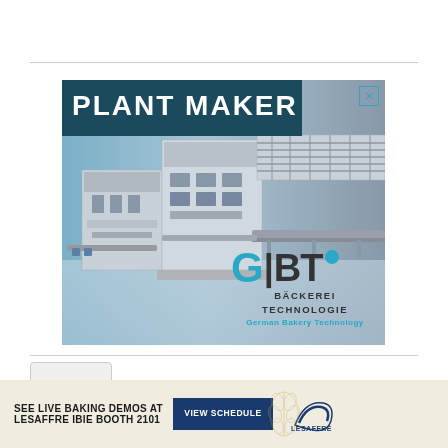[Figure (photo): Advertisement for GBT (German Bakery Technology) showing industrial bakery equipment/plant machinery. Header reads 'PLANT MAKER' on dark teal background. Right side features the GBT logo with 'BÄCKEREI TECHNOLOGIE' and tagline 'German Bakery Technology'. Blue X close button in top right.]
[Figure (infographic): Bottom banner advertisement for Lesaffre IBIE Booth 2101. Text: 'SEE LIVE BAKING DEMOS AT LESAFFRE IBIE BOOTH 2101' with 'VIEW SCHEDULE' button and Lesaffre logo.]